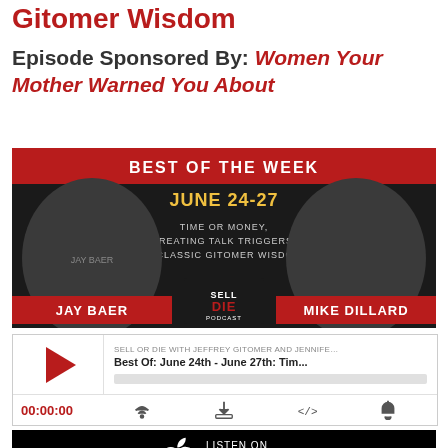Gitomer Wisdom
Episode Sponsored By: Women Your Mother Warned You About
[Figure (illustration): Podcast banner for 'Sell or Die'. Dark background with red accents. Text: BEST OF THE WEEK, JUNE 24-27, TIME OR MONEY, CREATING TALK TRIGGERS, & CLASSIC GITOMER WISDOM. Features photos of Jay Baer and Mike Dillard. Center logo: SELL DIE PODCAST.]
[Figure (screenshot): Embedded audio player for podcast episode. Show: SELL OR DIE WITH JEFFREY GITOMER AND JENNIFER. Episode: Best Of: June 24th - June 27th: Tim... Red play button, progress bar, time 00:00:00, and icons for cast, download, embed, and bell.]
[Figure (logo): Listen on iTunes badge. Black background with white Apple logo and text LISTEN ON iTunes in white.]